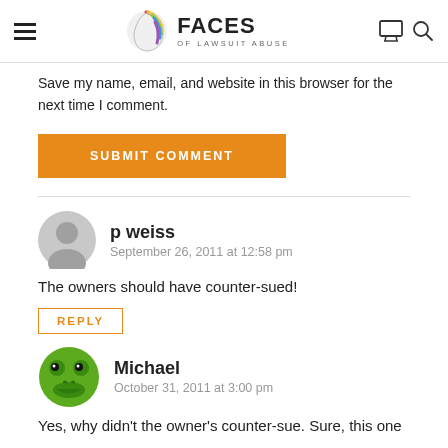FACES OF LAWSUIT ABUSE
Save my name, email, and website in this browser for the next time I comment.
SUBMIT COMMENT
p weiss
September 26, 2011 at 12:58 pm
The owners should have counter-sued!
REPLY
Michael
October 31, 2011 at 3:00 pm
Yes, why didn't the owner's counter-sue. Sure, this one